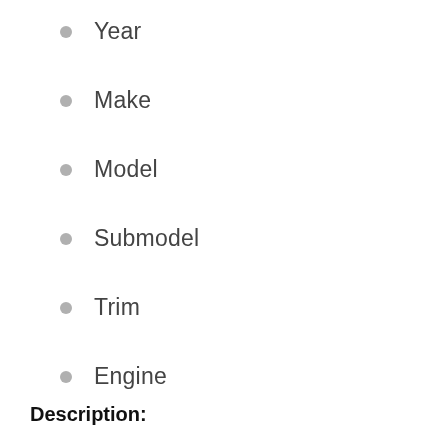Year
Make
Model
Submodel
Trim
Engine
Description: